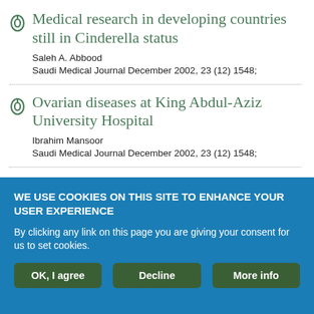Medical research in developing countries still in Cinderella status
Saleh A. Abbood
Saudi Medical Journal December 2002, 23 (12) 1548;
Ovarian diseases at King Abdul-Aziz University Hospital
Ibrahim Mansoor
Saudi Medical Journal December 2002, 23 (12) 1548;
WE USE COOKIES ON THIS SITE TO ENHANCE YOUR USER EXPERIENCE
By clicking any link on this page you are giving your consent for us to set cookies.